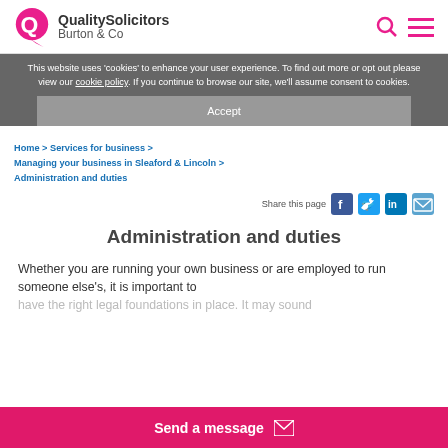QualitySolicitors Burton & Co
This website uses 'cookies' to enhance your user experience. To find out more or opt out please view our cookie policy. If you continue to browse our site, we'll assume consent to cookies.
Accept
Home > Services for business > Managing your business in Sleaford & Lincoln > Administration and duties
Share this page
Administration and duties
Whether you are running your own business or are employed to run someone else's, it is important to have the right legal foundations in place. It may sound
Send a message